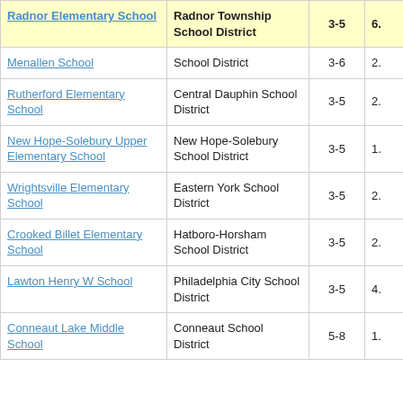| School | District | Grades | Value |
| --- | --- | --- | --- |
| Radnor Elementary School | Radnor Township School District | 3-5 | 6. |
| Menallen School | School District | 3-6 | 2. |
| Rutherford Elementary School | Central Dauphin School District | 3-5 | 2. |
| New Hope-Solebury Upper Elementary School | New Hope-Solebury School District | 3-5 | 1. |
| Wrightsville Elementary School | Eastern York School District | 3-5 | 2. |
| Crooked Billet Elementary School | Hatboro-Horsham School District | 3-5 | 2. |
| Lawton Henry W School | Philadelphia City School District | 3-5 | 4. |
| Conneaut Lake Middle School | Conneaut School District | 5-8 | 1. |